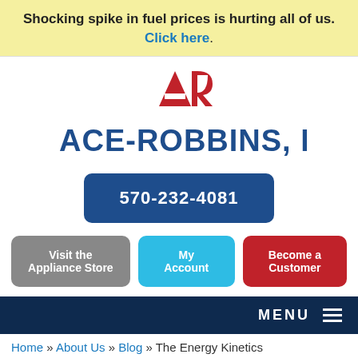Shocking spike in fuel prices is hurting all of us. Click here.
[Figure (logo): ACE-ROBBINS, INC. logo with red AR icon above blue bold text]
570-232-4081
Visit the Appliance Store
My Account
Become a Customer
MENU
Home » About Us » Blog » The Energy Kinetics